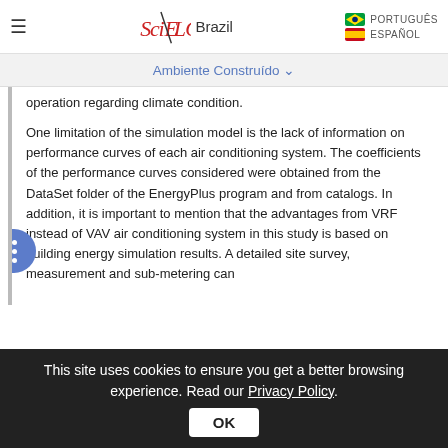SciELO Brazil | PORTUGUÊS | ESPAÑOL
Ambiente Construído ▾
operation regarding climate condition.

One limitation of the simulation model is the lack of information on performance curves of each air conditioning system. The coefficients of the performance curves considered were obtained from the DataSet folder of the EnergyPlus program and from catalogs. In addition, it is important to mention that the advantages from VRF instead of VAV air conditioning system in this study is based on building energy simulation results. A detailed site survey, measurement and sub-metering can
This site uses cookies to ensure you get a better browsing experience. Read our Privacy Policy.